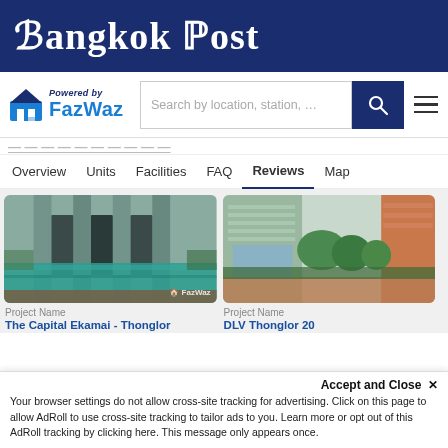Bangkok Post
[Figure (screenshot): FazWaz powered search bar with location search field and hamburger menu]
Powered by FazWaz — Search by location, station, ...
Overview  Units  Facilities  FAQ  Reviews  Map
[Figure (photo): Swimming pool with modern condominium building facade, FazWaz watermark]
[Figure (photo): Modern condominium building exterior with green landscaping]
Project Name
The Capital Ekamai - Thonglor
Project Name
DLV Thonglor 20
Accept and Close ✕
Your browser settings do not allow cross-site tracking for advertising. Click on this page to allow AdRoll to use cross-site tracking to tailor ads to you. Learn more or opt out of this AdRoll tracking by clicking here. This message only appears once.